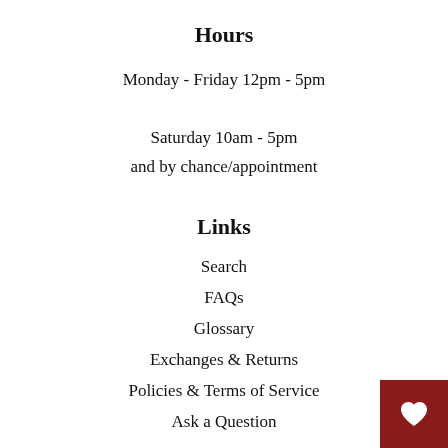Hours
Monday - Friday 12pm - 5pm
Saturday 10am - 5pm
and by chance/appointment
Links
Search
FAQs
Glossary
Exchanges & Returns
Policies & Terms of Service
Ask a Question
Latest News
[Figure (illustration): Dark red square button with a white heart icon in the bottom-right corner of the page]